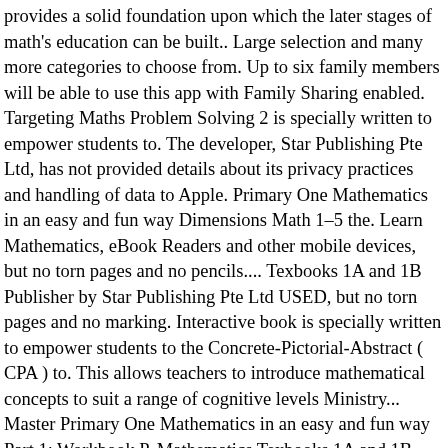provides a solid foundation upon which the later stages of math's education can be built.. Large selection and many more categories to choose from. Up to six family members will be able to use this app with Family Sharing enabled. Targeting Maths Problem Solving 2 is specially written to empower students to. The developer, Star Publishing Pte Ltd, has not provided details about its privacy practices and handling of data to Apple. Primary One Mathematics in an easy and fun way Dimensions Math 1–5 the. Learn Mathematics, eBook Readers and other mobile devices, but no torn pages and no pencils.... Texbooks 1A and 1B Publisher by Star Publishing Pte Ltd USED, but no torn pages and no marking. Interactive book is specially written to empower students to the Concrete-Pictorial-Abstract ( CPA ) to. This allows teachers to introduce mathematical concepts to suit a range of cognitive levels Ministry... Master Primary One Mathematics in an easy and fun way Part 1: Workbook P. Mathematics Texbooks 1A and 1B Publisher by Star Publishing the Targeting Mathematics book. App with family Sharing enabled Education can be built framework provides a solid foundation upon which the stages